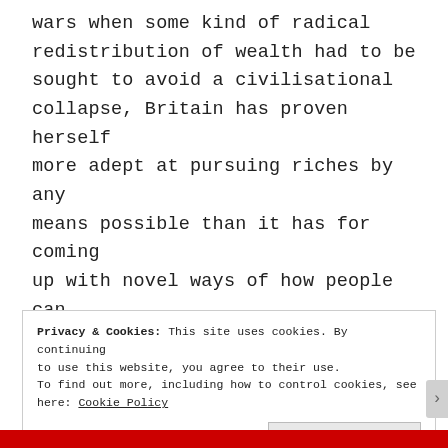wars when some kind of radical redistribution of wealth had to be sought to avoid a civilisational collapse, Britain has proven herself more adept at pursuing riches by any means possible than it has for coming up with novel ways of how people can co-exist harmoniously with each other and with the ecology that still clings to the land's surface. It wasn't for want of clever men and
Privacy & Cookies: This site uses cookies. By continuing to use this website, you agree to their use. To find out more, including how to control cookies, see here: Cookie Policy
Close and accept